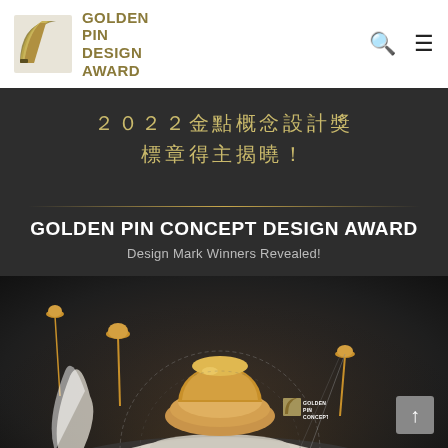[Figure (logo): Golden Pin Design Award logo — stylized curved page icon in gold/grey with text 'GOLDEN PIN DESIGN AWARD' in gold beside it]
[Figure (screenshot): Dark grey promotional banner for 2022 Golden Pin Concept Design Award featuring Chinese text '2022金點概念設計獎 標章得主揭曉！' in gold, a gold horizontal divider line, bold white text 'GOLDEN PIN CONCEPT DESIGN AWARD', grey subtitle 'Design Mark Winners Revealed!', and a 3D rendered gold-and-white sculptural award object at the bottom. A small back-to-top arrow button appears in the lower right, along with a small Golden Pin Concept logo watermark.]